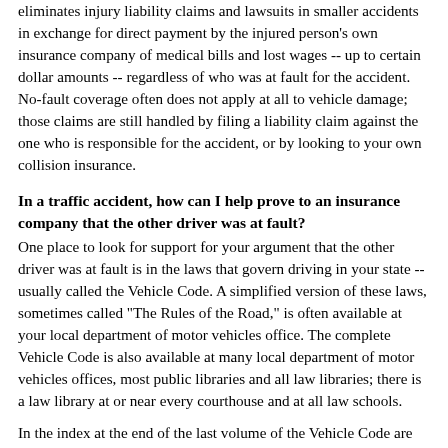eliminates injury liability claims and lawsuits in smaller accidents in exchange for direct payment by the injured person's own insurance company of medical bills and lost wages -- up to certain dollar amounts -- regardless of who was at fault for the accident. No-fault coverage often does not apply at all to vehicle damage; those claims are still handled by filing a liability claim against the one who is responsible for the accident, or by looking to your own collision insurance.
In a traffic accident, how can I help prove to an insurance company that the other driver was at fault?
One place to look for support for your argument that the other driver was at fault is in the laws that govern driving in your state -- usually called the Vehicle Code. A simplified version of these laws, sometimes called "The Rules of the Road," is often available at your local department of motor vehicles office. The complete Vehicle Code is also available at many local department of motor vehicles offices, most public libraries and all law libraries; there is a law library at or near every courthouse and at all law schools.
In the index at the end of the last volume of the Vehicle Code are references to many rules of the road, one or more of which might apply to your accident. A librarian may be willing to help you with your search, so don't be afraid to ask. If you believe a rule might apply to your accident, copy not only its exact wording but also the Vehicle Code section number so that you can refer to it when you